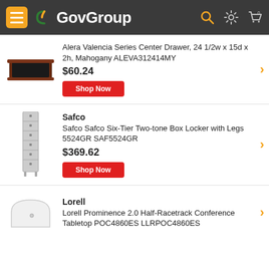GovGroup
[Figure (photo): Alera Valencia Series Center Drawer product image - shallow mahogany-colored tray]
Alera Valencia Series Center Drawer, 24 1/2w x 15d x 2h, Mahogany ALEVA312414MY
$60.24
Shop Now
[Figure (photo): Safco Six-Tier Two-tone Box Locker with Legs product image - tall grey locker]
Safco
Safco Safco Six-Tier Two-tone Box Locker with Legs 5524GR SAF5524GR
$369.62
Shop Now
[Figure (photo): Lorell Prominence 2.0 Half-Racetrack Conference Tabletop product image - white table]
Lorell
Lorell Prominence 2.0 Half-Racetrack Conference Tabletop POC4860ES LLRPOC4860ES